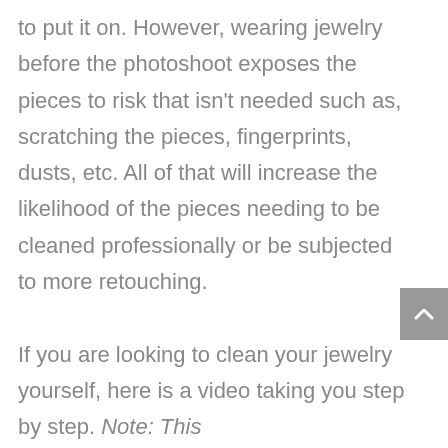to put it on. However, wearing jewelry before the photoshoot exposes the pieces to risk that isn't needed such as, scratching the pieces, fingerprints, dusts, etc. All of that will increase the likelihood of the pieces needing to be cleaned professionally or be subjected to more retouching.

If you are looking to clean your jewelry yourself, here is a video taking you step by step. Note: This